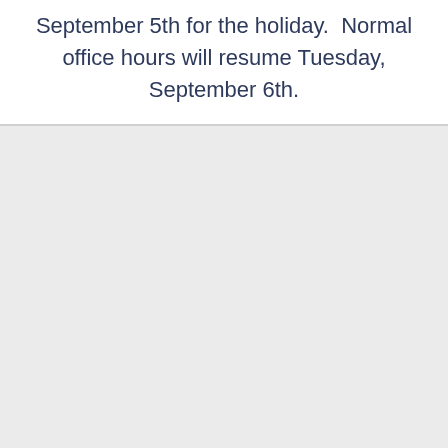September 5th for the holiday.  Normal office hours will resume Tuesday, September 6th.